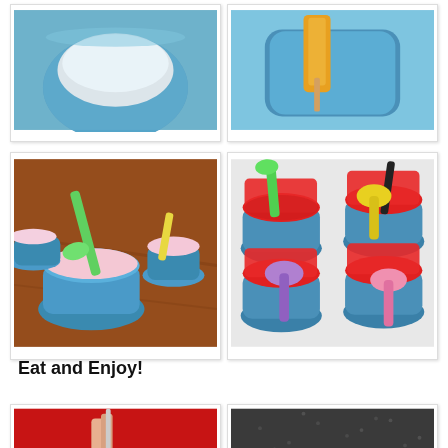[Figure (photo): White cream or yogurt in a blue silicone cup]
[Figure (photo): Ice cream or popsicle in a blue cup being frozen]
[Figure (photo): Multiple blue silicone cups with pink frozen dessert and colorful spoons on a wooden surface]
[Figure (photo): Multiple blue silicone cups filled with red granita/flavored ice, topped with colorful spoons]
Eat and Enjoy!
[Figure (photo): Hand holding a straw or spoon in red frozen dessert]
[Figure (photo): Dark background with granular or icy texture]